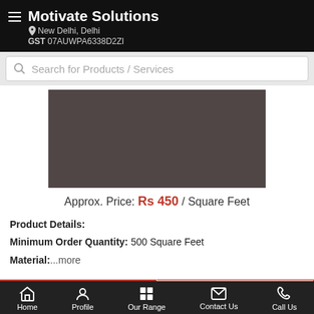Motivate Solutions
New Delhi, Delhi
GST 07AUWPA6338D2ZI
Search for Products / Services
[Figure (photo): Dark brownish-grey product image placeholder]
Approx. Price: Rs 450 / Square Feet
Product Details:
Minimum Order Quantity: 500 Square Feet
Material: ...more
Call Us
Get Details
Home | Profile | Our Range | Contact Us | Call Us